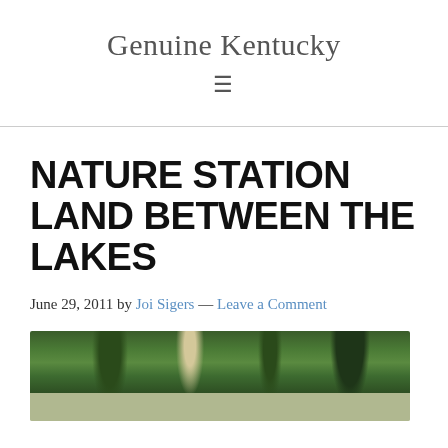Genuine Kentucky
NATURE STATION LAND BETWEEN THE LAKES
June 29, 2011 by Joi Sigers — Leave a Comment
[Figure (photo): Outdoor nature photo showing trees and greenery at Nature Station, Land Between the Lakes]